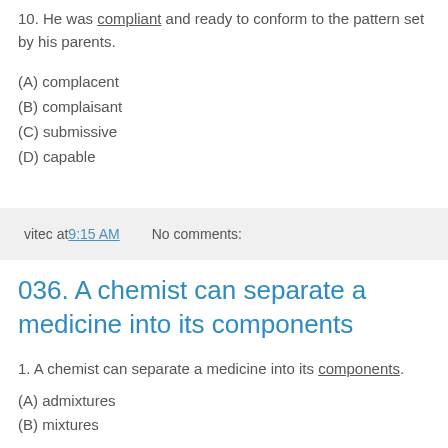10. He was compliant and ready to conform to the pattern set by his parents.
(A) complacent
(B) complaisant
(C) submissive
(D) capable
vitec at 9:15 AM    No comments:
036. A chemist can separate a medicine into its components
1. A chemist can separate a medicine into its components.
(A) admixtures
(B) mixtures
(C) elements
(D) complexities
2. She is cool, composed, mistress of herself and her